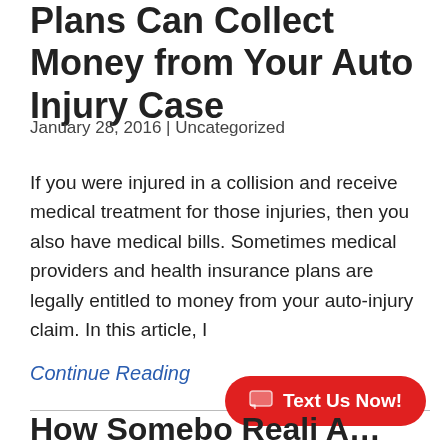Plans Can Collect Money from Your Auto Injury Case
January 28, 2016 | Uncategorized
If you were injured in a collision and receive medical treatment for those injuries, then you also have medical bills. Sometimes medical providers and health insurance plans are legally entitled to money from your auto-injury claim. In this article, I
Continue Reading
Text Us Now!